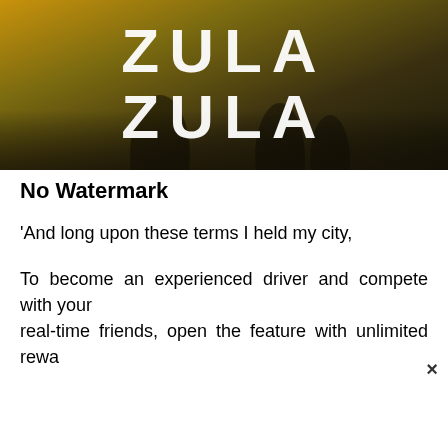[Figure (photo): Dark golden-toned game promotional image with large white bold text reading 'ZULA' over a dark background with human silhouettes]
No Watermark
'And long upon these terms I held my city,
To become an experienced driver and compete with your real-time friends, open the feature with unlimited rewa